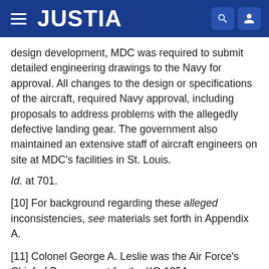JUSTIA
design development, MDC was required to submit detailed engineering drawings to the Navy for approval. All changes to the design or specifications of the aircraft, required Navy approval, including proposals to address problems with the allegedly defective landing gear. The government also maintained an extensive staff of aircraft engineers on site at MDC's facilities in St. Louis.
Id. at 701.
[10] For background regarding these alleged inconsistencies, see materials set forth in Appendix A.
[11] Colonel George A. Leslie was the Air Force's Chief of Procurement for the KC-135A.
[12] Wilson E. Hale was an Air Force flight control systems engineer, and Unit Chief, Cargo Transport and